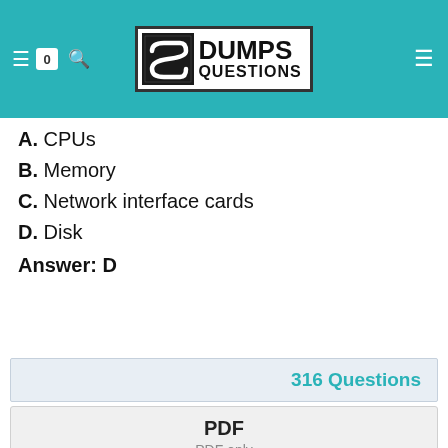DumpsQuestions logo header
A. CPUs
B. Memory
C. Network interface cards
D. Disk
Answer: D
316 Questions
PDF
PDF only
$49
$69
Add To Cart